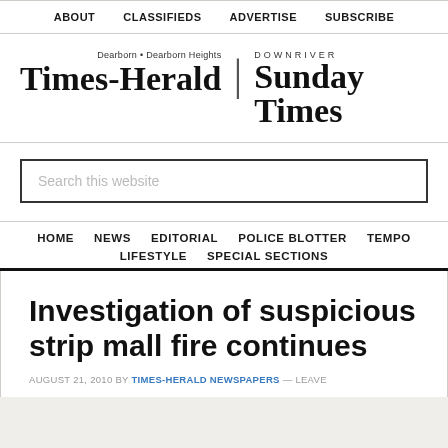ABOUT  CLASSIFIEDS  ADVERTISE  SUBSCRIBE
[Figure (logo): Times-Herald | Downriver Sunday Times newspaper logo with blackletter typography]
Search this website
HOME  NEWS  EDITORIAL  POLICE BLOTTER  TEMPO  LIFESTYLE  SPECIAL SECTIONS
Investigation of suspicious strip mall fire continues
AUGUST 21, 2010 BY TIMES-HERALD NEWSPAPERS — LEAVE